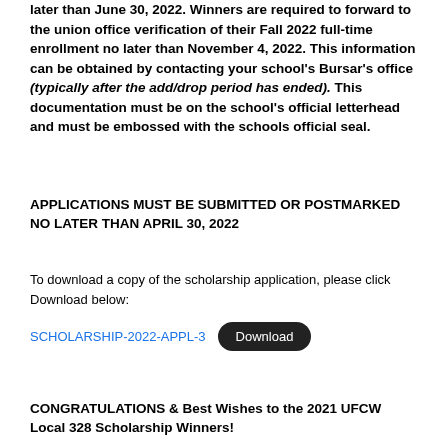later than June 30, 2022. Winners are required to forward to the union office verification of their Fall 2022 full-time enrollment no later than November 4, 2022. This information can be obtained by contacting your school's Bursar's office (typically after the add/drop period has ended). This documentation must be on the school's official letterhead and must be embossed with the schools official seal.
APPLICATIONS MUST BE SUBMITTED OR POSTMARKED NO LATER THAN APRIL 30, 2022
To download a copy of the scholarship application, please click Download below:
SCHOLARSHIP-2022-APPL-3   Download
CONGRATULATIONS & Best Wishes to the 2021 UFCW Local 328 Scholarship Winners!